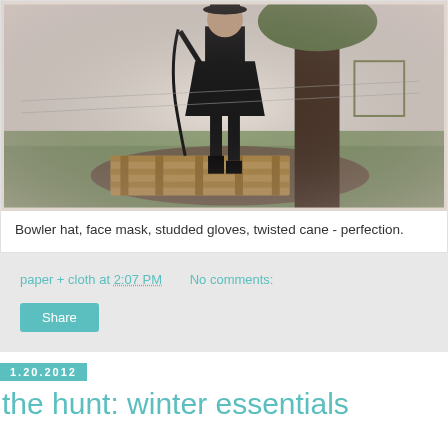[Figure (photo): Person in black outfit standing on a wooden pallet near a tree outdoors, wearing a bowler hat and holding a twisted cane, with a garden/yard background]
Bowler hat, face mask, studded gloves, twisted cane - perfection.
paper + cloth at 2:07 PM   No comments:
Share
1.20.2012
the hunt: winter essentials